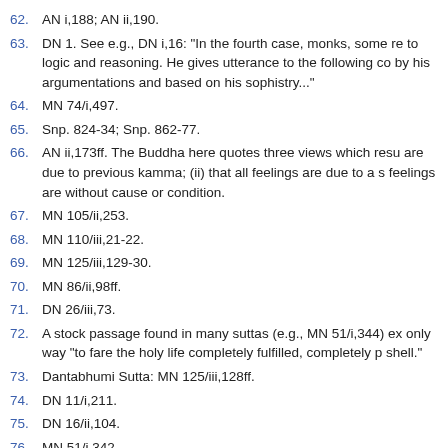62. AN i,188; AN ii,190.
63. DN 1. See e.g., DN i,16: "In the fourth case, monks, some re to logic and reasoning. He gives utterance to the following co by his argumentations and based on his sophistry..."
64. MN 74/i,497.
65. Snp. 824-34; Snp. 862-77.
66. AN ii,173ff. The Buddha here quotes three views which resu are due to previous kamma; (ii) that all feelings are due to a s feelings are without cause or condition.
67. MN 105/ii,253.
68. MN 110/iii,21-22.
69. MN 125/iii,129-30.
70. MN 86/ii,98ff.
71. DN 26/iii,73.
72. A stock passage found in many suttas (e.g., MN 51/i,344) ex only way "to fare the holy life completely fulfilled, completely p shell."
73. Dantabhumi Sutta: MN 125/iii,128ff.
74. DN 11/i,211.
75. DN 16/ii,104.
76. MN 51/i,342.